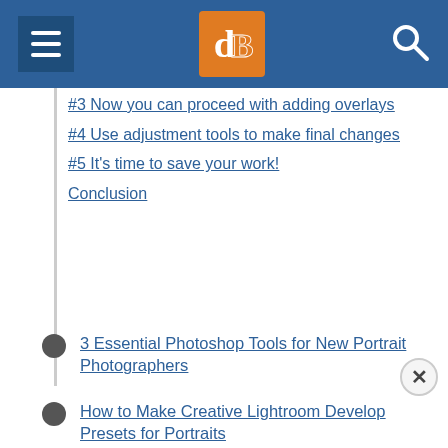dPS navigation header
#3 Now you can proceed with adding overlays
#4 Use adjustment tools to make final changes
#5 It's time to save your work!
Conclusion
3 Essential Photoshop Tools for New Portrait Photographers
How to Make Creative Lightroom Develop Presets for Portraits
5 Reasons to Use Lightroom for Portrait Retouching